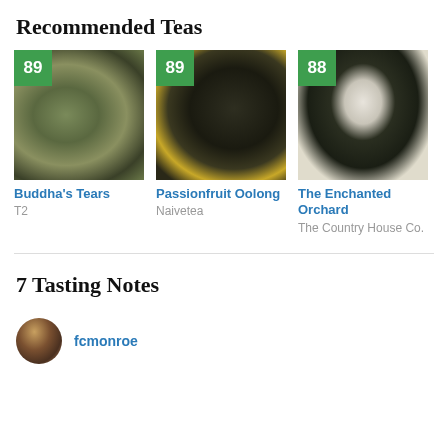Recommended Teas
[Figure (photo): Tea product card: Buddha's Tears tea leaves photo with score badge 89]
Buddha's Tears
T2
[Figure (photo): Tea product card: Passionfruit Oolong tea leaves photo with score badge 89]
Passionfruit Oolong
Naivetea
[Figure (photo): Tea product card: The Enchanted Orchard tea in bowl photo with score badge 88]
The Enchanted Orchard
The Country House Co.
7 Tasting Notes
[Figure (photo): User avatar photo circle]
fcmonroe